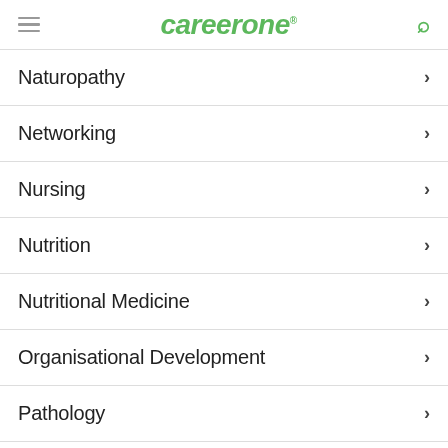careerone
Naturopathy
Networking
Nursing
Nutrition
Nutritional Medicine
Organisational Development
Pathology